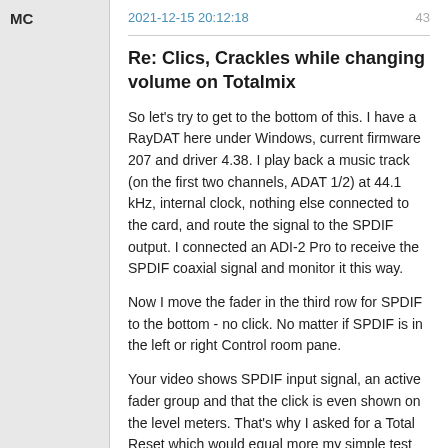MC | 2021-12-15 20:12:18 | 43
Re: Clics, Crackles while changing volume on Totalmix
So let's try to get to the bottom of this. I have a RayDAT here under Windows, current firmware 207 and driver 4.38. I play back a music track (on the first two channels, ADAT 1/2) at 44.1 kHz, internal clock, nothing else connected to the card, and route the signal to the SPDIF output. I connected an ADI-2 Pro to receive the SPDIF coaxial signal and monitor it this way.
Now I move the fader in the third row for SPDIF to the bottom - no click. No matter if SPDIF is in the left or right Control room pane.
Your video shows SPDIF input signal, an active fader group and that the click is even shown on the level meters. That's why I asked for a Total Reset which would equal more my simple test